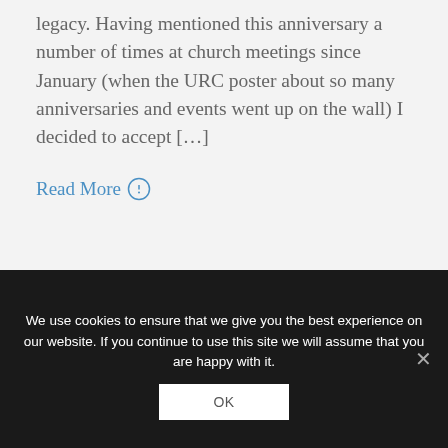legacy. Having mentioned this anniversary a number of times at church meetings since January (when the URC poster about so many anniversaries and events went up on the wall) I decided to accept […]
Read More ⓘ
We use cookies to ensure that we give you the best experience on our website. If you continue to use this site we will assume that you are happy with it.
OK